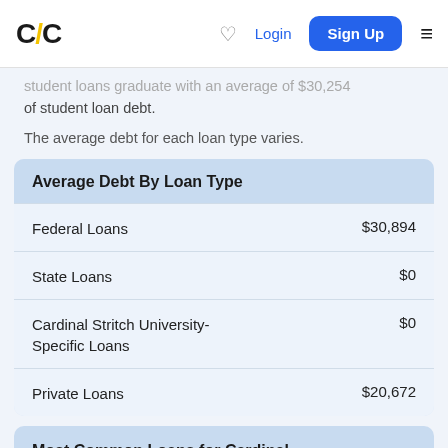C/C | Login | Sign Up
student loans graduate with an average of $30,254 of student loan debt.
The average debt for each loan type varies.
| Average Debt By Loan Type |  |
| --- | --- |
| Federal Loans | $30,894 |
| State Loans | $0 |
| Cardinal Stritch University-Specific Loans | $0 |
| Private Loans | $20,672 |
Most Common Loans for Cardinal Stritch University Students